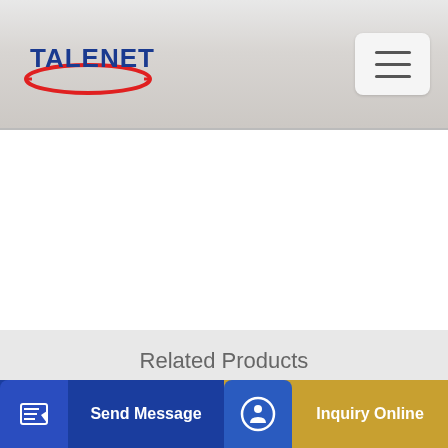TALENET
Related Products
12 cbm model cmt1200r self loading concrete mixer truck
China China Cheap price Horizontal Cement Silo
Send Message
Inquiry Online